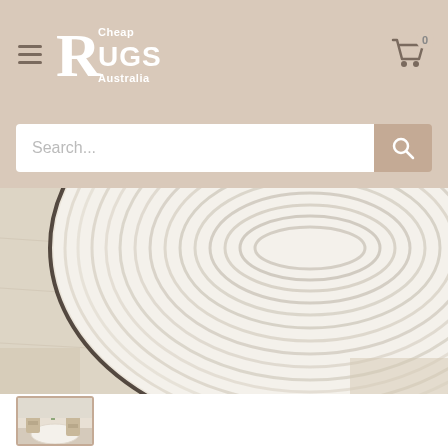[Figure (logo): Cheap Rugs Australia logo — white serif text on tan/beige background with hamburger menu icon]
[Figure (screenshot): Search bar with placeholder text 'Search...' and a tan search button with magnifying glass icon]
[Figure (photo): Close-up photo of a round white/cream braided jute rug on a light wood floor, showing concentric oval braided pattern with dark edge]
[Figure (photo): Thumbnail image of the rug in a room setting with chairs and plants]